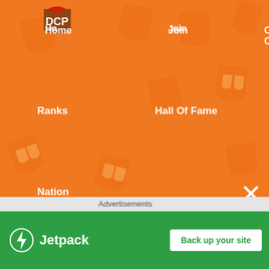Home | Join | CPPS Cheats | Discord | Ranks | Hall Of Fame | Uniform | Nation
[Figure (screenshot): DCP website navigation bar with orange background featuring shield pattern. Logo top left. Nav items: Home, Join, CPPS Cheats, Discord (top row); Ranks, Hall Of Fame, Uniform (second row); Nation (third row).]
[Figure (screenshot): White content area with decorative shield watermarks, orange vertical divider, and right panel showing Club Penguin characters labeled XxNoob. Advertisements section with WordPress VIP logo and orange close button.]
[Figure (screenshot): Jetpack advertisement banner at bottom: green background with Jetpack logo and 'Back up your site' button.]
Advertisements
WordPress VIP
XxNoob
Back up your site